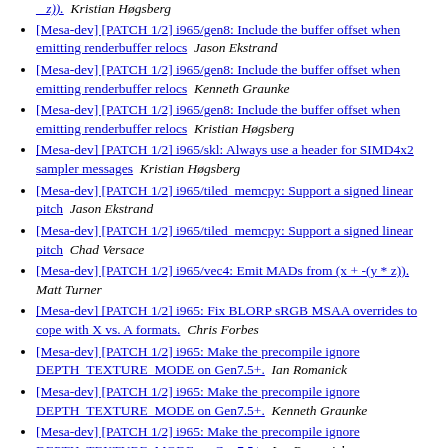[Mesa-dev] [PATCH 1/2] i965/gen8: Include the buffer offset when emitting renderbuffer relocs  Jason Ekstrand
[Mesa-dev] [PATCH 1/2] i965/gen8: Include the buffer offset when emitting renderbuffer relocs  Kenneth Graunke
[Mesa-dev] [PATCH 1/2] i965/gen8: Include the buffer offset when emitting renderbuffer relocs  Kristian Høgsberg
[Mesa-dev] [PATCH 1/2] i965/skl: Always use a header for SIMD4x2 sampler messages  Kristian Høgsberg
[Mesa-dev] [PATCH 1/2] i965/tiled_memcpy: Support a signed linear pitch  Jason Ekstrand
[Mesa-dev] [PATCH 1/2] i965/tiled_memcpy: Support a signed linear pitch  Chad Versace
[Mesa-dev] [PATCH 1/2] i965/vec4: Emit MADs from (x + -(y * z)).  Matt Turner
[Mesa-dev] [PATCH 1/2] i965: Fix BLORP sRGB MSAA overrides to cope with X vs. A formats.  Chris Forbes
[Mesa-dev] [PATCH 1/2] i965: Make the precompile ignore DEPTH_TEXTURE_MODE on Gen7.5+.  Ian Romanick
[Mesa-dev] [PATCH 1/2] i965: Make the precompile ignore DEPTH_TEXTURE_MODE on Gen7.5+.  Kenneth Graunke
[Mesa-dev] [PATCH 1/2] i965: Make the precompile ignore DEPTH_TEXTURE_MODE on Gen7.5+.  Ian Romanick
[Mesa-dev] [PATCH 1/2] i965: Make the precompile ignore DEPTH_TEXTURE_MODE on Gen7.5+.  Kenneth